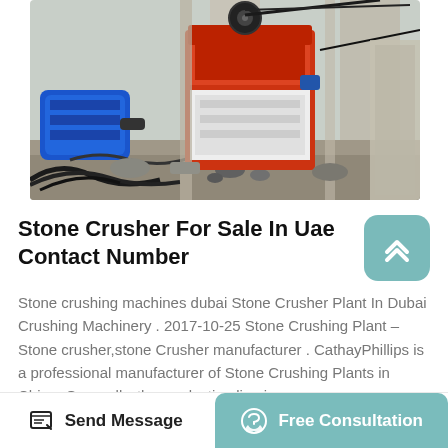[Figure (photo): Industrial stone crusher machine at a construction/quarry site. A large red and white jaw crusher is visible in the center, with a blue electric motor on the left side, concrete pillars, cables, and rocky ground around the machinery.]
Stone Crusher For Sale In Uae Contact Number
Stone crushing machines dubai Stone Crusher Plant In Dubai Crushing Machinery . 2017-10-25 Stone Crushing Plant – Stone crusher,stone Crusher manufacturer . CathayPhillips is a professional manufacturer of Stone Crushing Plants in China. Generally, the production line is